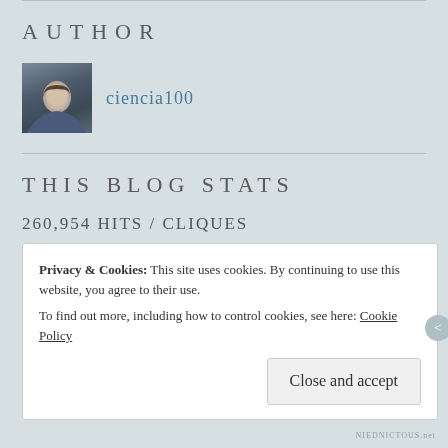AUTHOR
[Figure (photo): Small avatar photo of a man with dark hair wearing a blue shirt]
ciencia100
THIS BLOG STATS
260,954 HITS / CLIQUES
Privacy & Cookies: This site uses cookies. By continuing to use this website, you agree to their use.
To find out more, including how to control cookies, see here: Cookie Policy
Close and accept